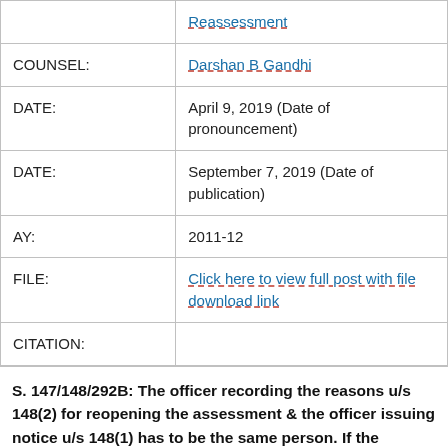| Field | Value |
| --- | --- |
|  | Reassessment |
| COUNSEL: | Darshan B Gandhi |
| DATE: | April 9, 2019 (Date of pronouncement) |
| DATE: | September 7, 2019 (Date of publication) |
| AY: | 2011-12 |
| FILE: | Click here to view full post with file download link |
| CITATION: |  |
S. 147/148/292B: The officer recording the reasons u/s 148(2) for reopening the assessment & the officer issuing notice u/s 148(1) has to be the same person. If the reasons are recorded by the DCIT but the notice is issued by the ITO, the reassessment...